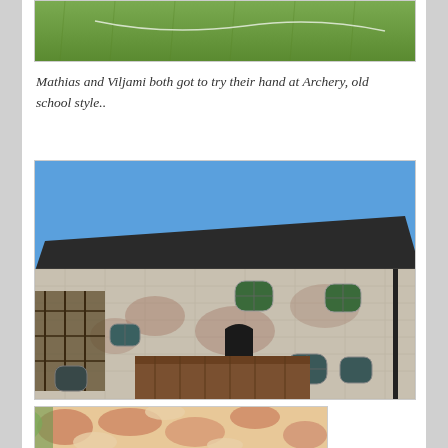[Figure (photo): Partial top of photo showing green grass lawn area]
Mathias and Viljami both got to try their hand at Archery, old school style..
[Figure (photo): Exterior of a stone castle building with dark metal roof, arched windows, and wooden structures in the courtyard. Blue sky background.]
[Figure (photo): Partial view of what appears to be a colorful animal print or artwork, possibly a giraffe pattern in orange/pink tones]